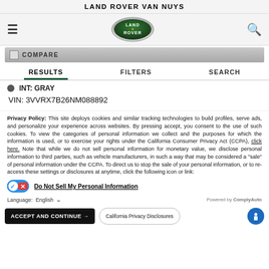LAND ROVER VAN NUYS
[Figure (logo): Land Rover oval green logo with LAND ROVER text]
COMPARE
RESULTS   FILTERS   SEARCH
INT: GRAY
VIN: 3VVRX7B26NM088892
Privacy Policy: This site deploys cookies and similar tracking technologies to build profiles, serve ads, and personalize your experience across websites. By pressing accept, you consent to the use of such cookies. To view the categories of personal information we collect and the purposes for which the information is used, or to exercise your rights under the California Consumer Privacy Act (CCPA), click here. Note that while we do not sell personal information for monetary value, we disclose personal information to third parties, such as vehicle manufacturers, in such a way that may be considered a "sale" of personal information under the CCPA. To direct us to stop the sale of your personal information, or to re-access these settings or disclosures at anytime, click the following icon or link:
Do Not Sell My Personal Information
Language:  English
Powered by ComplyAuto
ACCEPT AND CONTINUE →   California Privacy Disclosures